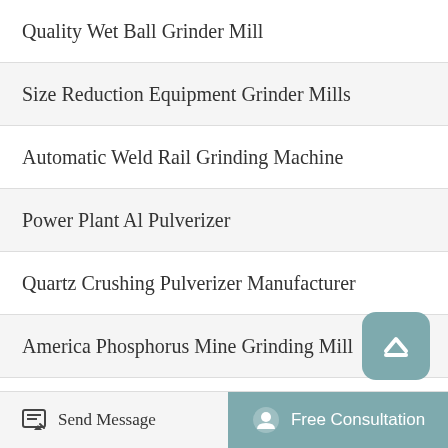Quality Wet Ball Grinder Mill
Size Reduction Equipment Grinder Mills
Automatic Weld Rail Grinding Machine
Power Plant Al Pulverizer
Quartz Crushing Pulverizer Manufacturer
America Phosphorus Mine Grinding Mill
Grinding Machine Shaftgrinder Grinding Machine Shaftgrinder
Mongolia Small Dishose Grinding Mill